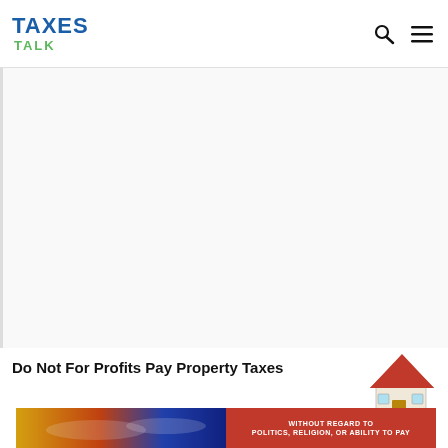TAXES TALK
[Figure (other): Large white/gray blank content area, possibly an advertisement placeholder]
Do Not For Profits Pay Property Taxes
[Figure (illustration): Small house illustration with red roof]
[Figure (photo): Advertisement banner: photo of cargo airplanes being loaded, next to a red banner reading WITHOUT REGARD TO POLITICS, RELIGION, OR ABILITY TO PAY]